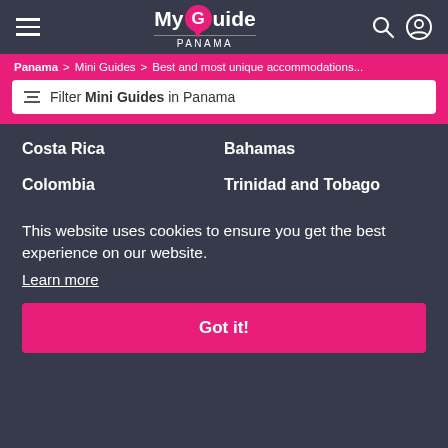My Guide PANAMA
Panama > Mini Guides > Best and most unique accommodations...
Filter Mini Guides in Panama
Costa Rica
Bahamas
Colombia
Trinidad and Tobago
This website uses cookies to ensure you get the best experience on our website.
Learn more
Got it!